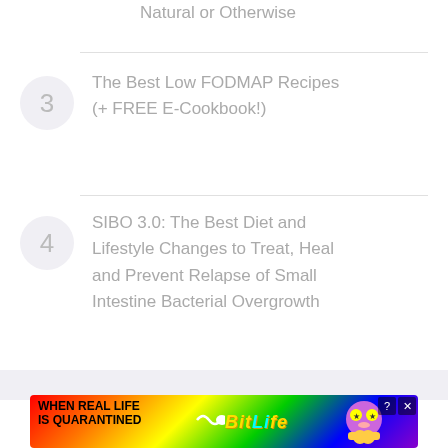Natural or Otherwise
3 The Best Low FODMAP Recipes (+ FREE E-Cookbook!)
4 SIBO 3.0: The Best Diet and Lifestyle Changes to Treat, Heal and Prevent Relapse of Small Intestine Bacterial Overgrowth
[Figure (screenshot): Colorful advertisement banner for BitLife mobile game reading 'WHEN REAL LIFE IS QUARANTINED' with rainbow gradient background and animated mascot character]